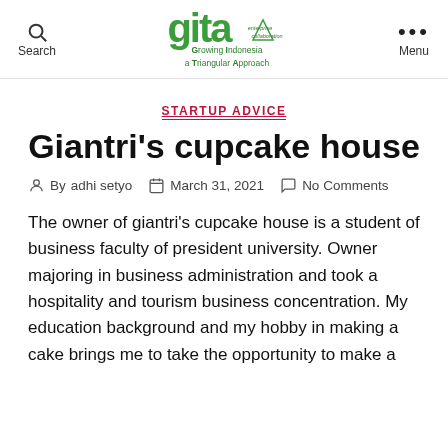Search | GITA - Growing Indonesia a Triangular Approach | Menu
STARTUP ADVICE
Giantri's cupcake house
By adhi setyo   March 31, 2021   No Comments
The owner of giantri's cupcake house is a student of business faculty of president university. Owner majoring in business administration and took a hospitality and tourism business concentration. My education background and my hobby in making a cake brings me to take the opportunity to make a business which is started of this foundation.